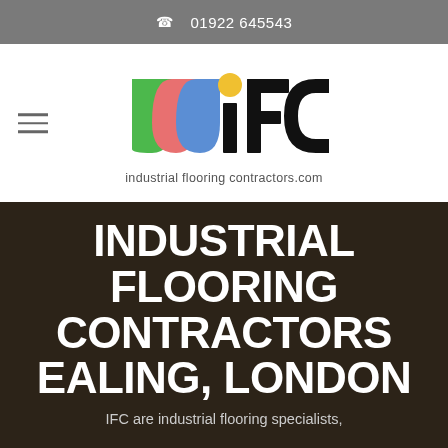01922 645543
[Figure (logo): IFC Industrial Flooring Contractors logo with coloured arcs (green, red/pink, blue) and yellow dot above lowercase i, with text 'industrial flooring contractors.com' below]
INDUSTRIAL FLOORING CONTRACTORS EALING, LONDON
IFC are industrial flooring specialists,